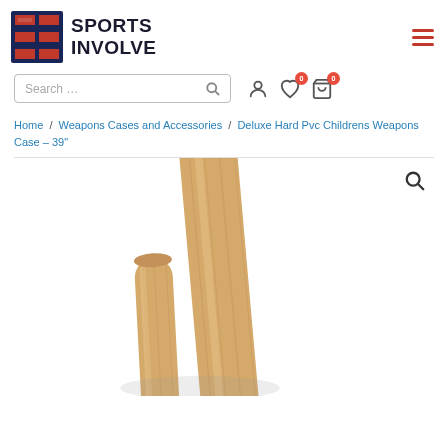[Figure (logo): Sports Involve logo with red S-shaped icon and bold black text SPORTS INVOLVE]
Search ...
Home / Weapons Cases and Accessories / Deluxe Hard Pvc Childrens Weapons Case – 39"
[Figure (photo): Close-up photo of wooden martial arts weapon handles/staves against a white background]